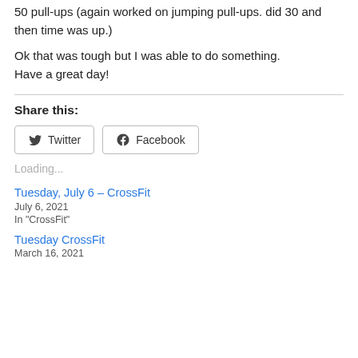50 pull-ups (again worked on jumping pull-ups. did 30 and then time was up.)
Ok that was tough but I was able to do something. Have a great day!
Share this:
Loading...
Tuesday, July 6 – CrossFit
July 6, 2021
In "CrossFit"
Tuesday CrossFit
March 16, 2021